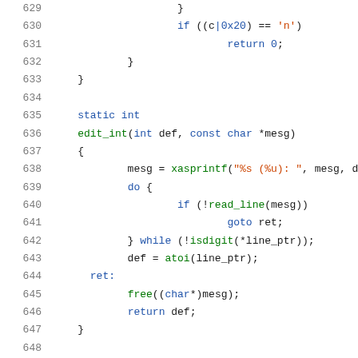Source code listing lines 629-649, C language code showing edit_int function and surrounding context